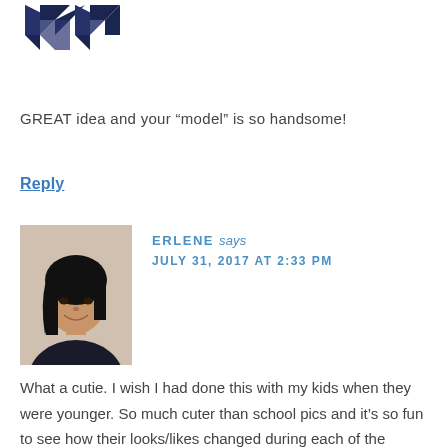[Figure (logo): Dark navy blue geometric/origami-style logo made of angular arrow-like shapes]
GREAT idea and your “model” is so handsome!
Reply
[Figure (photo): Profile photo of Erlene, a young Asian woman with long black hair, smiling slightly, wearing a dark jacket]
ERLENE says
JULY 31, 2017 AT 2:33 PM
What a cutie. I wish I had done this with my kids when they were younger. So much cuter than school pics and it’s so fun to see how their looks/likes changed during each of the school years.